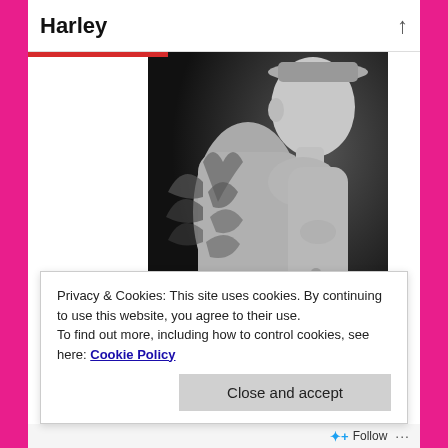Harley
[Figure (photo): Black and white book cover image showing a shirtless man with tattoos and a hat, with a crowd in the background, and the word 'Harley' written in teal cursive script at the bottom]
Privacy & Cookies: This site uses cookies. By continuing to use this website, you agree to their use.
To find out more, including how to control cookies, see here: Cookie Policy
Close and accept
Follow